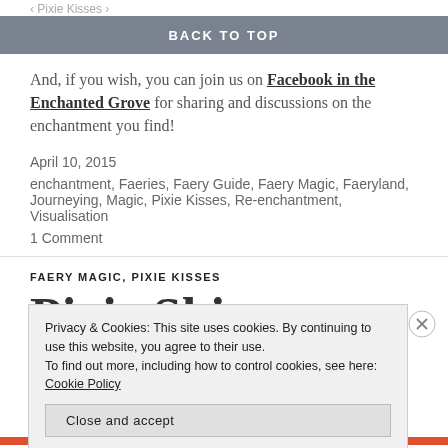Pixie Kisses
BACK TO TOP
And, if you wish, you can join us on Facebook in the Enchanted Grove for sharing and discussions on the enchantment you find!
April 10, 2015
enchantment, Faeries, Faery Guide, Faery Magic, Faeryland, Journeying, Magic, Pixie Kisses, Re-enchantment, Visualisation
1 Comment
FAERY MAGIC, PIXIE KISSES
Privacy & Cookies: This site uses cookies. By continuing to use this website, you agree to their use.
To find out more, including how to control cookies, see here: Cookie Policy
Close and accept